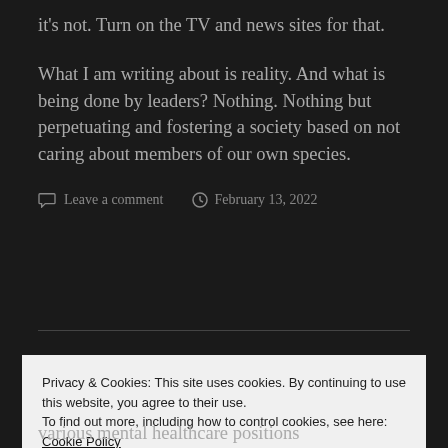it's not. Turn on the TV and news sites for that.
What I am writing about is reality. And what is being done by leaders? Nothing. Nothing but perpetuating and fostering a society based on not caring about members of our own species.
Leave a comment   February 13, 2022
Privacy & Cookies: This site uses cookies. By continuing to use this website, you agree to their use.
To find out more, including how to control cookies, see here: Cookie Policy
Close and accept
various mental healthcare positions